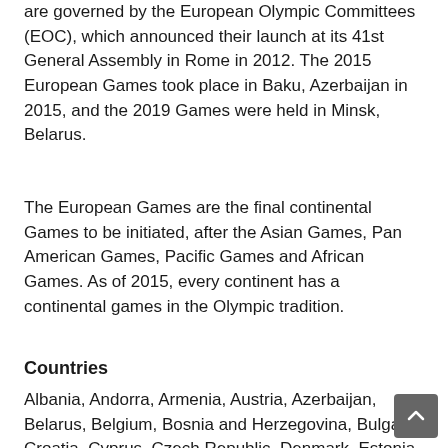are governed by the European Olympic Committees (EOC), which announced their launch at its 41st General Assembly in Rome in 2012. The 2015 European Games took place in Baku, Azerbaijan in 2015, and the 2019 Games were held in Minsk, Belarus.
The European Games are the final continental Games to be initiated, after the Asian Games, Pan American Games, Pacific Games and African Games. As of 2015, every continent has a continental games in the Olympic tradition.
Countries
Albania, Andorra, Armenia, Austria, Azerbaijan, Belarus, Belgium, Bosnia and Herzegovina, Bulgaria, Croatia, Cyprus, Czech Republic, Denmark, Estonia, Finland, France, Georgia, Germany, Great Britain, Greece, Hungary, Iceland, Ireland, Israel, Italy, Kosovo, Latvia, Liechtenstein, Lithuania, Luxembourg, Malta,